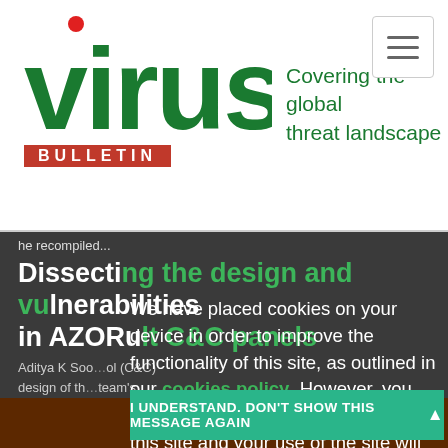[Figure (logo): Virus Bulletin logo with red dot on 'i', green 'virus' text, red 'BULLETIN' bar, and green tagline 'Covering the global threat landscape']
he recompiled...
Dissecting the design and vulnerabilities in AZORult C&C panels
Aditya K Soo... control (C&C) design of th... team's findings rela... urity issues they identifi...
We have placed cookies on your device in order to improve the functionality of this site, as outlined in our cookies policy. However, you may delete and block all cookies from this site and your use of the site will be unaffected. By continuing to browse this site, you are agreeing to Virus Bulletin's use of data as outlined in our privacy policy.
I UNDERSTAND. DON'T SHOW THIS MESSAGE AGAIN